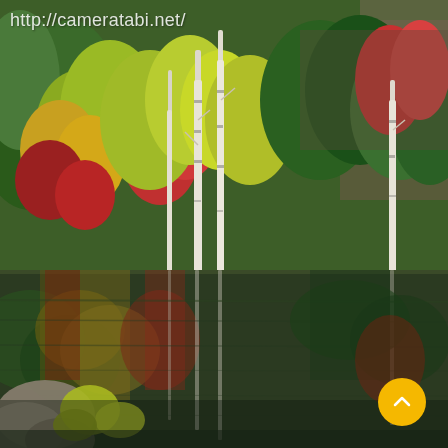[Figure (photo): Autumn forest landscape reflected in a still lake. Colorful fall foliage with red, orange, yellow, and green trees. White birch trees stand prominently in the center. Their reflections mirror perfectly in the dark calm water below. Rocky shoreline visible at bottom left with yellow foliage. A yellow circular scroll-up button is overlaid in the bottom-right corner.]
http://cameratabi.net/